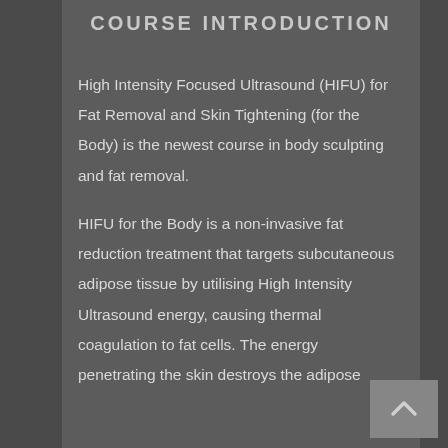COURSE INTRODUCTION
High Intensity Focused Ultrasound (HIFU) for Fat Removal and Skin Tightening (for the Body) is the newest course in body sculpting and fat removal.
HIFU for the Body is a non-invasive fat reduction treatment that targets subcutaneous adipose tissue by utilising High Intensity Ultrasound energy, causing thermal coagulation to fat cells. The energy penetrating the skin destroys the adipose